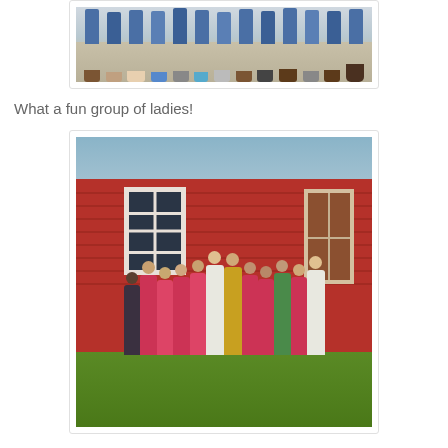[Figure (photo): Partial view of a group photo showing the lower bodies and feet of several women standing in a row, wearing jeans and various shoes on a gravel/concrete surface.]
What a fun group of ladies!
[Figure (photo): Group photo of approximately 15 women standing in front of a red barn building with a white-framed window and brown door. Most women are wearing pink/red t-shirts. There is green grass in the foreground.]